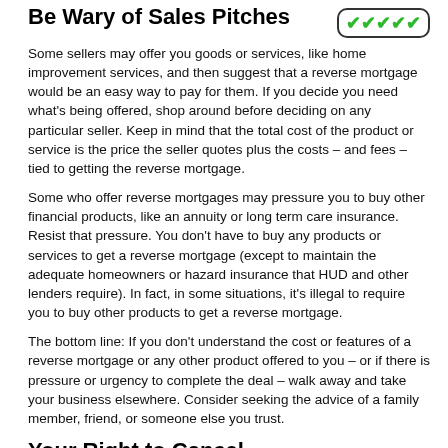Be Wary of Sales Pitches
[Figure (other): Five green checkmarks inside a rounded rectangle border]
Some sellers may offer you goods or services, like home improvement services, and then suggest that a reverse mortgage would be an easy way to pay for them. If you decide you need what's being offered, shop around before deciding on any particular seller. Keep in mind that the total cost of the product or service is the price the seller quotes plus the costs – and fees – tied to getting the reverse mortgage.
Some who offer reverse mortgages may pressure you to buy other financial products, like an annuity or long term care insurance. Resist that pressure. You don't have to buy any products or services to get a reverse mortgage (except to maintain the adequate homeowners or hazard insurance that HUD and other lenders require). In fact, in some situations, it's illegal to require you to buy other products to get a reverse mortgage.
The bottom line: If you don't understand the cost or features of a reverse mortgage or any other product offered to you – or if there is pressure or urgency to complete the deal – walk away and take your business elsewhere. Consider seeking the advice of a family member, friend, or someone else you trust.
Your Right to Cancel